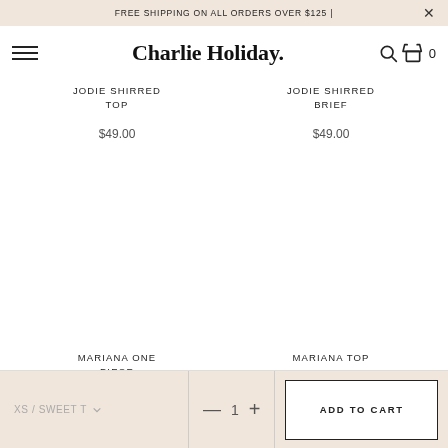FREE SHIPPING ON ALL ORDERS OVER $125 |
Charlie Holiday.
JODIE SHIRRED TOP
$49.00
JODIE SHIRRED BRIEF
$49.00
MARIANA ONE PIECE
MARIANA TOP
XS / SWEET TV  —  1  +  ADD TO CART